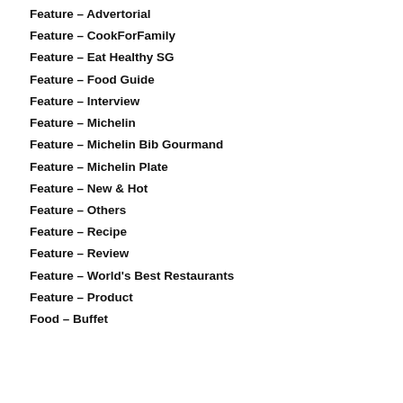Feature – Advertorial
Feature – CookForFamily
Feature – Eat Healthy SG
Feature – Food Guide
Feature – Interview
Feature – Michelin
Feature – Michelin Bib Gourmand
Feature – Michelin Plate
Feature – New & Hot
Feature – Others
Feature – Recipe
Feature – Review
Feature – World's Best Restaurants
Feature – Product
Food – Buffet